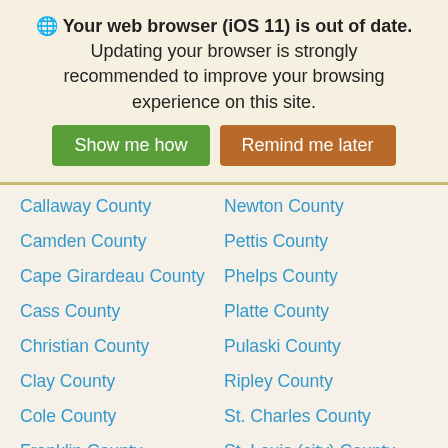Your web browser (iOS 11) is out of date. Updating your browser is strongly recommended to improve your browsing experience on this site.
Show me how | Remind me later
Callaway County
Newton County
Camden County
Pettis County
Cape Girardeau County
Phelps County
Cass County
Platte County
Christian County
Pulaski County
Clay County
Ripley County
Cole County
St. Charles County
Franklin County
St. Louis (city) County
Greene County
St. Louis County
Howell County
Vernon County